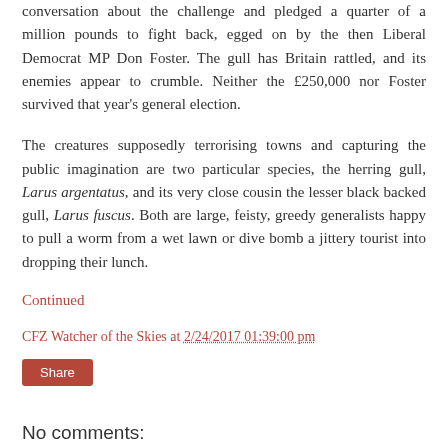conversation about the challenge and pledged a quarter of a million pounds to fight back, egged on by the then Liberal Democrat MP Don Foster. The gull has Britain rattled, and its enemies appear to crumble. Neither the £250,000 nor Foster survived that year's general election.
The creatures supposedly terrorising towns and capturing the public imagination are two particular species, the herring gull, Larus argentatus, and its very close cousin the lesser black backed gull, Larus fuscus. Both are large, feisty, greedy generalists happy to pull a worm from a wet lawn or dive bomb a jittery tourist into dropping their lunch.
Continued
CFZ Watcher of the Skies at 2/24/2017 01:39:00 pm
Share
No comments:
Post a Comment